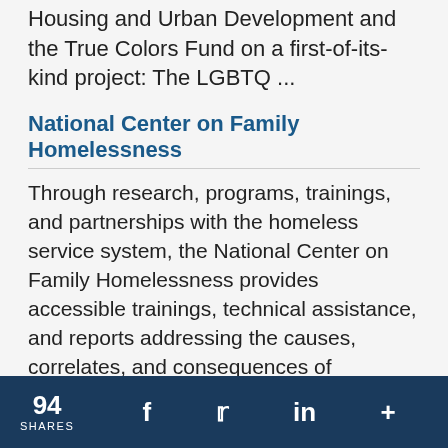Housing and Urban Development and the True Colors Fund on a first-of-its-kind project: The LGBTQ ...
National Center on Family Homelessness
Through research, programs, trainings, and partnerships with the homeless service system, the National Center on Family Homelessness provides accessible trainings, technical assistance, and reports addressing the causes, correlates, and consequences of homelessness to inform local, state, and national efforts to prevent and end homelessness. ...
Improving Student Behavior in Houston With the Good Behavior Game
94 SHARES  f  Twitter  in  +